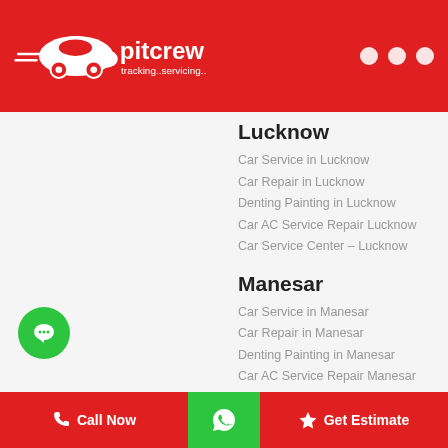pitcrew tracking..servicing..
Lucknow
Car Service in Lucknow
Car Repair in Lucknow
Denting Painting in Lucknow
Car AC Service Repair Lucknow
Car Service Center – Lucknow
Manesar
Car Service in Manesar
Car Repair in Manesar
Denting Painting in Manesar
Car AC Service Repair Manesar
Car Service Center – Manesar
Mohali
Car Service in Mohali
Car Repair in Mohali
Denting Painting in Mohali
Car AC Service Repair Mohali
Car Service Center – Mohali
Call Now   [WhatsApp]   Get Estimate